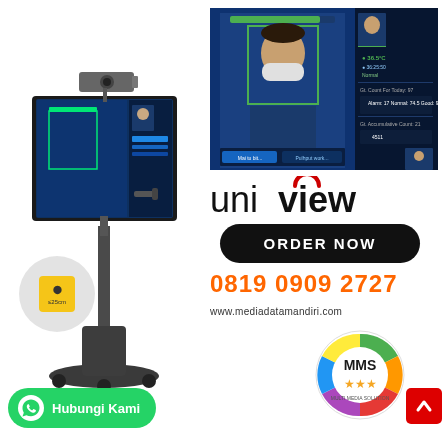[Figure (photo): Uniview face recognition terminal on a mobile stand with camera on top, yellow distance marker accessory, and display screen showing face detection interface]
[Figure (screenshot): Uniview face recognition software interface showing a masked person with green bounding box, temperature reading 36.5°C, and statistics panel]
[Figure (logo): Uniview brand logo with red arc over the letter i in 'view']
ORDER NOW
0819 0909 2727
www.mediadatamandiri.com
[Figure (logo): MMS Multi Media Solution circular logo with colorful pie sections and three gold stars]
Hubungi Kami